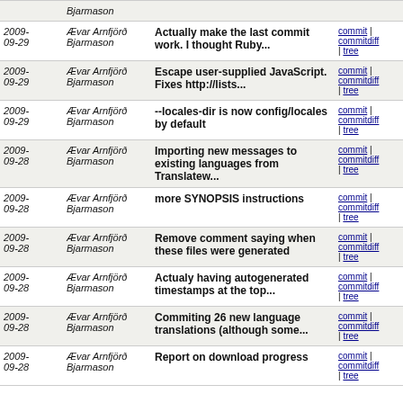| Date | Author | Message | Links |
| --- | --- | --- | --- |
|  | Bjarmason |  |  |
| 2009-09-29 | Ævar Arnfjörð Bjarmason | Actually make the last commit work. I thought Ruby... | commit | commitdiff | tree |
| 2009-09-29 | Ævar Arnfjörð Bjarmason | Escape user-supplied JavaScript. Fixes http://lists... | commit | commitdiff | tree |
| 2009-09-29 | Ævar Arnfjörð Bjarmason | --locales-dir is now config/locales by default | commit | commitdiff | tree |
| 2009-09-28 | Ævar Arnfjörð Bjarmason | Importing new messages to existing languages from Translatew... | commit | commitdiff | tree |
| 2009-09-28 | Ævar Arnfjörð Bjarmason | more SYNOPSIS instructions | commit | commitdiff | tree |
| 2009-09-28 | Ævar Arnfjörð Bjarmason | Remove comment saying when these files were generated | commit | commitdiff | tree |
| 2009-09-28 | Ævar Arnfjörð Bjarmason | Actualy having autogenerated timestamps at the top... | commit | commitdiff | tree |
| 2009-09-28 | Ævar Arnfjörð Bjarmason | Commiting 26 new language translations (although some... | commit | commitdiff | tree |
| 2009-09-28 | Ævar Arnfjörð Bjarmason | Report on download progress | commit | commitdiff | tree |